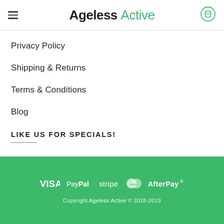Ageless Active
Privacy Policy
Shipping & Returns
Terms & Conditions
Blog
LIKE US FOR SPECIALS!
[Figure (logo): Payment method logos: VISA, PayPal, stripe, Mastercard, AfterPay]
Copyright Ageless Active © 2018-2019